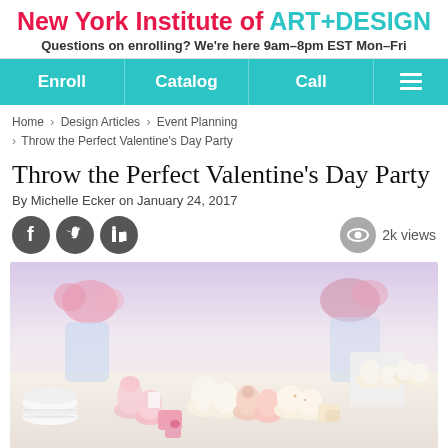New York Institute of ART+DESIGN — Questions on enrolling? We're here 9am–8pm EST Mon–Fri
Enroll | Catalog | Call | ☰
Home › Design Articles › Event Planning › Throw the Perfect Valentine's Day Party
Throw the Perfect Valentine's Day Party
By Michelle Ecker on January 24, 2017
[Figure (other): Social media share icons (Facebook, Twitter, LinkedIn) and a 2k views counter]
[Figure (photo): Valentine's Day dessert table with pink and white cupcakes, heart-shaped cakes, macarons, and flowers in background]